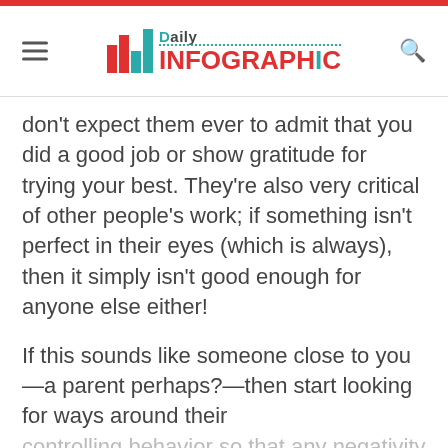Daily Infographic
don't expect them ever to admit that you did a good job or show gratitude for trying your best. They're also very critical of other people's work; if something isn't perfect in their eyes (which is always), then it simply isn't good enough for anyone else either!
If this sounds like someone close to you—a parent perhaps?—then start looking for ways around their controlling behavior so that any negativity doesn't affect your mood or